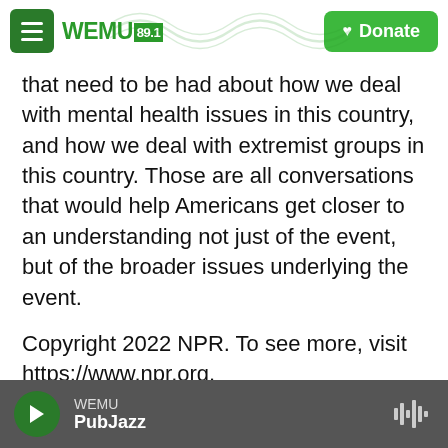WEMU 89.1 | Donate
that need to be had about how we deal with mental health issues in this country, and how we deal with extremist groups in this country. Those are all conversations that would help Americans get closer to an understanding not just of the event, but of the broader issues underlying the event.
Copyright 2022 NPR. To see more, visit https://www.npr.org.
NPR National News
WEMU PubJazz